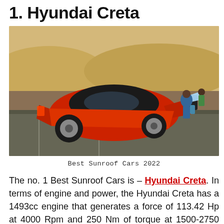1. Hyundai Creta
[Figure (photo): Aerial/elevated side view of a red Hyundai Creta SUV with black roof, parked on a paved surface with sandy/hilly background and two people standing behind it]
Best Sunroof Cars 2022
The no. 1 Best Sunroof Cars is – Hyundai Creta. In terms of engine and power, the Hyundai Creta has a 1493cc engine that generates a force of 113.42 Hp at 4000 Rpm and 250 Nm of torque at 1500-2750 Rpm. At